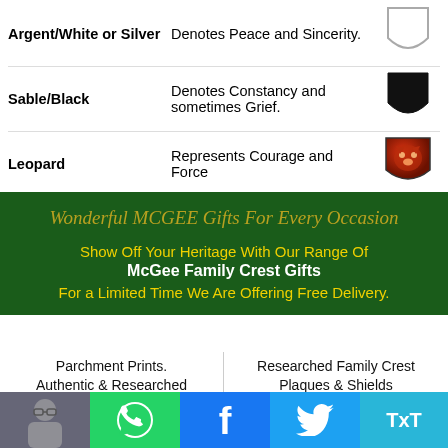| Name | Description | Image |
| --- | --- | --- |
| Argent/White or Silver | Denotes Peace and Sincerity. | [white shield] |
| Sable/Black | Denotes Constancy and sometimes Grief. | [black shield] |
| Leopard | Represents Courage and Force | [leopard crest] |
Wonderful MCGEE Gifts For Every Occasion
Show Off Your Heritage With Our Range Of McGee Family Crest Gifts
For a Limited Time We Are Offering Free Delivery.
Parchment Prints. Authentic & Researched
Researched Family Crest Plaques & Shields
[Figure (photo): Parchment print framed photo]
[Figure (photo): Family crest plaque shield]
[Figure (photo): Footer bar: person photo, WhatsApp, Facebook, Twitter, TxT icons]